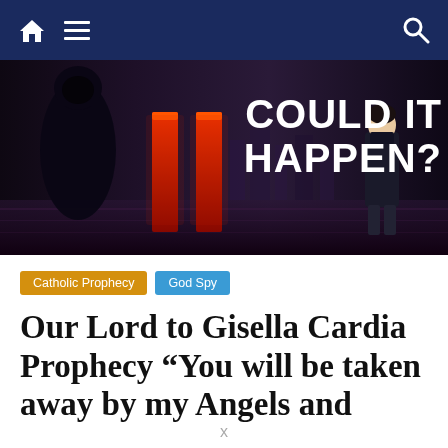Navigation bar with home icon, menu icon, and search icon
[Figure (photo): Dark atmospheric hero image with a robed figure on the left, two red pillars in the center, a person standing on the right looking away, and bold white text reading 'COULD IT HAPPEN?' on the upper right]
Catholic Prophecy
God Spy
Our Lord to Gisella Cardia Prophecy “You will be taken away by my Angels and